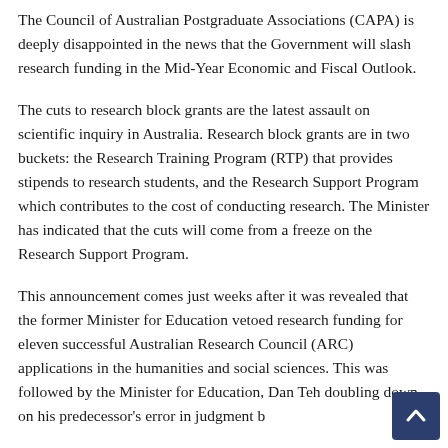The Council of Australian Postgraduate Associations (CAPA) is deeply disappointed in the news that the Government will slash research funding in the Mid-Year Economic and Fiscal Outlook.
The cuts to research block grants are the latest assault on scientific inquiry in Australia. Research block grants are in two buckets: the Research Training Program (RTP) that provides stipends to research students, and the Research Support Program which contributes to the cost of conducting research. The Minister has indicated that the cuts will come from a freeze on the Research Support Program.
This announcement comes just weeks after it was revealed that the former Minister for Education vetoed research funding for eleven successful Australian Research Council (ARC) applications in the humanities and social sciences. This was followed by the Minister for Education, Dan Teh... doubling down on his predecessor's error in judgment b...